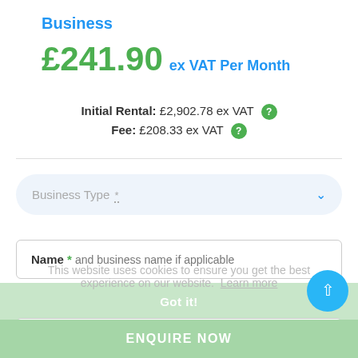Business
£241.90 ex VAT Per Month
Initial Rental: £2,902.78 ex VAT
Fee: £208.33 ex VAT
Business Type *
Name * and business name if applicable
This website uses cookies to ensure you get the best experience on our website. Learn more
Email *
Got it!
Phone *
ENQUIRE NOW